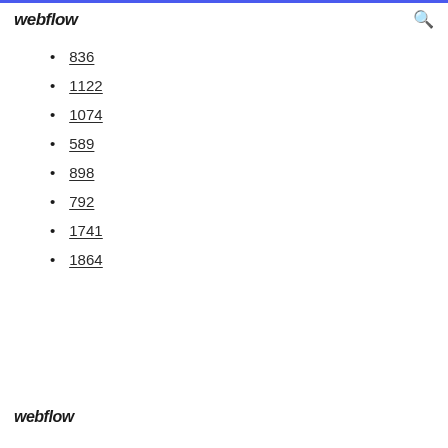webflow
836
1122
1074
589
898
792
1741
1864
webflow